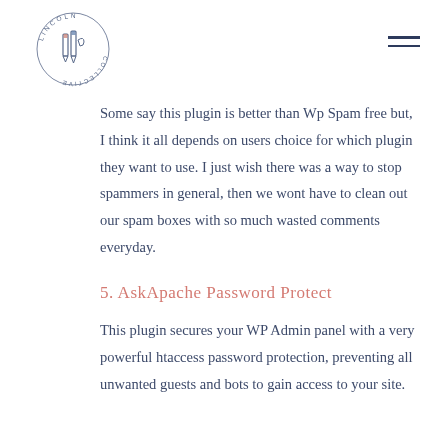Lincoln Collective logo and navigation
Some say this plugin is better than Wp Spam free but, I think it all depends on users choice for which plugin they want to use. I just wish there was a way to stop spammers in general, then we wont have to clean out our spam boxes with so much wasted comments everyday.
5. AskApache Password Protect
This plugin secures your WP Admin panel with a very powerful htaccess password protection, preventing all unwanted guests and bots to gain access to your site.